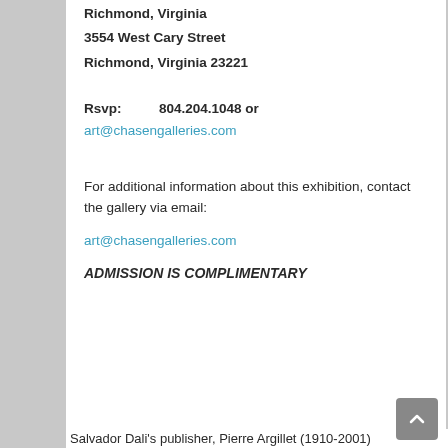Richmond, Virginia
3554 West Cary Street
Richmond, Virginia 23221
Rsvp:          804.204.1048 or
art@chasengalleries.com
For additional information about this exhibition, contact the gallery via email:
art@chasengalleries.com
ADMISSION IS COMPLIMENTARY
Salvador Dali's publisher, Pierre Argillet (1910-2001)